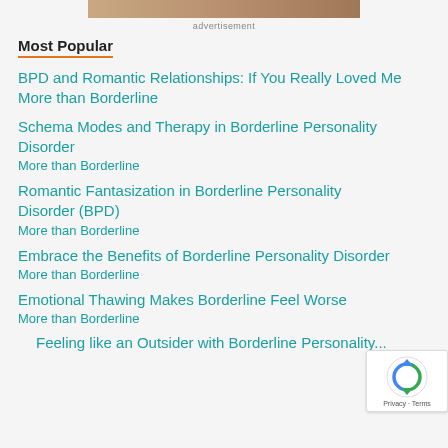[Figure (photo): Partial image of outdoor/nature scene at top of page]
advertisement
Most Popular
BPD and Romantic Relationships: If You Really Loved Me More than Borderline
Schema Modes and Therapy in Borderline Personality Disorder More than Borderline
Romantic Fantasization in Borderline Personality Disorder (BPD) More than Borderline
Embrace the Benefits of Borderline Personality Disorder More than Borderline
Emotional Thawing Makes Borderline Feel Worse More than Borderline
Feeling like an Outsider with Borderline Personality...